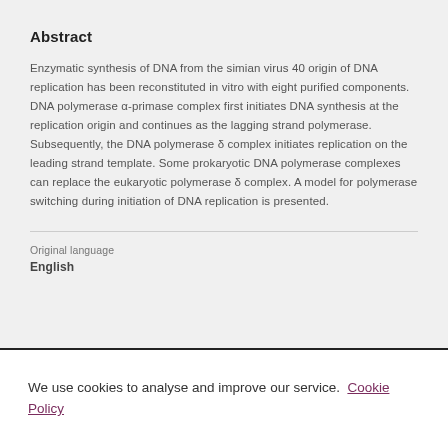Abstract
Enzymatic synthesis of DNA from the simian virus 40 origin of DNA replication has been reconstituted in vitro with eight purified components. DNA polymerase α-primase complex first initiates DNA synthesis at the replication origin and continues as the lagging strand polymerase. Subsequently, the DNA polymerase δ complex initiates replication on the leading strand template. Some prokaryotic DNA polymerase complexes can replace the eukaryotic polymerase δ complex. A model for polymerase switching during initiation of DNA replication is presented.
Original language
English
We use cookies to analyse and improve our service. Cookie Policy